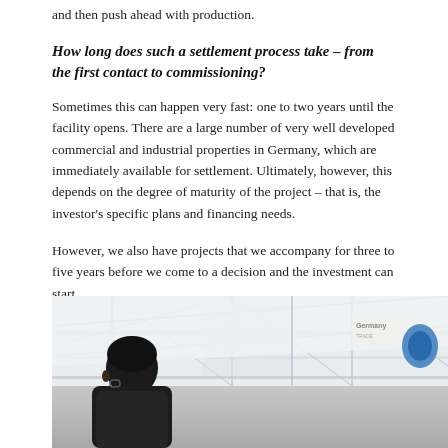and then push ahead with production.
How long does such a settlement process take – from the first contact to commissioning?
Sometimes this can happen very fast: one to two years until the facility opens. There are a large number of very well developed commercial and industrial properties in Germany, which are immediately available for settlement. Ultimately, however, this depends on the degree of maturity of the project – that is, the investor's specific plans and financing needs.
However, we also have projects that we accompany for three to five years before we come to a decision and the investment can start.
[Figure (photo): A person seen from behind, inside a large industrial or exhibition hall with a white tent/canopy structure. A 'Germany' sign is visible in the background.]